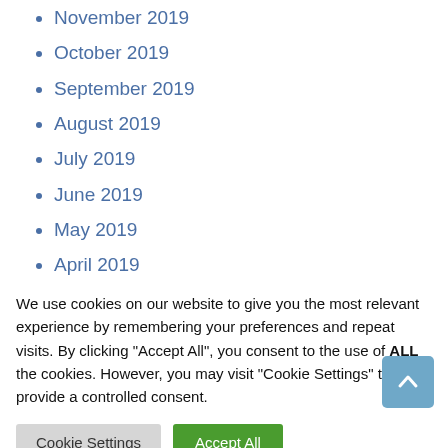November 2019
October 2019
September 2019
August 2019
July 2019
June 2019
May 2019
April 2019
March 2019
February 2019
We use cookies on our website to give you the most relevant experience by remembering your preferences and repeat visits. By clicking "Accept All", you consent to the use of ALL the cookies. However, you may visit "Cookie Settings" to provide a controlled consent.